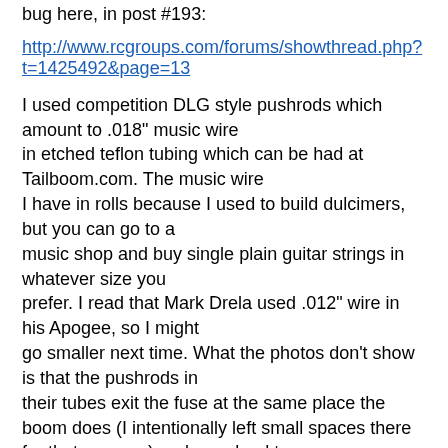bug here, in post #193:
http://www.rcgroups.com/forums/showthread.php?t=1425492&page=13
I used competition DLG style pushrods which amount to .018" music wire in etched teflon tubing which can be had at Tailboom.com. The music wire I have in rolls because I used to build dulcimers, but you can go to a music shop and buy single plain guitar strings in whatever size you prefer. I read that Mark Drela used .012" wire in his Apogee, so I might go smaller next time. What the photos don't show is that the pushrods in their tubes exit the fuse at the same place the boom does (I intentionally left small spaces there for that purpose) and are glued to the boom with cyano down its length.
These pushrods were quite easy to do, and are extremely light. If you want more details, let me know.